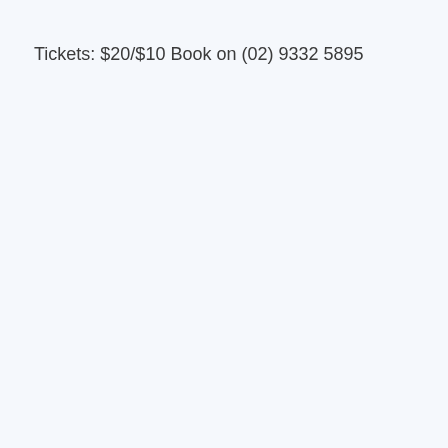Tickets: $20/$10 Book on (02) 9332 5895